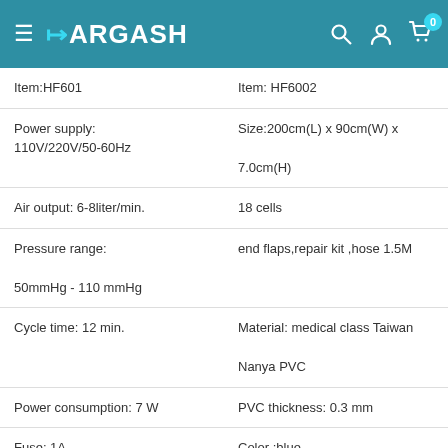DARGASH
| Item:HF601 | Item: HF6002 |
| Power supply:
110V/220V/50-60Hz | Size:200cm(L) x 90cm(W) x
7.0cm(H) |
| Air output: 6-8liter/min. | 18 cells |
| Pressure range:
50mmHg - 110 mmHg | end flaps,repair kit ,hose 1.5M |
| Cycle time: 12 min. | Material: medical class Taiwan
Nanya PVC |
| Power consumption: 7 W | PVC thickness: 0.3 mm |
| Fuse: 1A | Color :blue |
| Size: 23.5(L) x 12(W) x9.5
(H)cm | Mattress weight : 2.2-2.5kg |